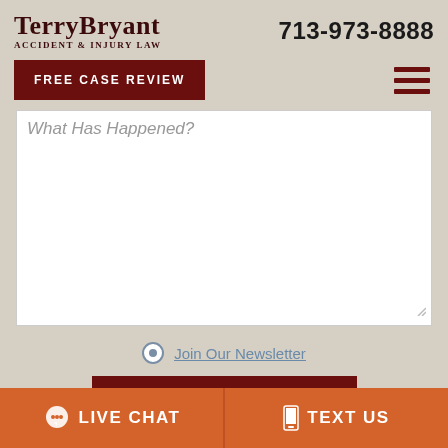[Figure (logo): Terry Bryant Accident & Injury Law logo with firm name and tagline]
713-973-8888
FREE CASE REVIEW
What Has Happened?
Join Our Newsletter
CLICK TO SEND
LIVE CHAT
TEXT US